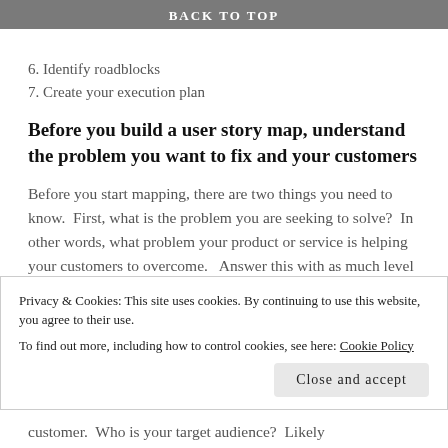BACK TO TOP
6. Identify roadblocks
7. Create your execution plan
Before you build a user story map, understand the problem you want to fix and your customers
Before you start mapping, there are two things you need to know.  First, what is the problem you are seeking to solve?  In other words, what problem your product or service is helping your customers to overcome.   Answer this with as much level of detail as you can about the problem from the customer.  Who is your target audience?  Likely
Privacy & Cookies: This site uses cookies. By continuing to use this website, you agree to their use.
To find out more, including how to control cookies, see here: Cookie Policy
Close and accept
customer.  Who is your target audience?  Likely